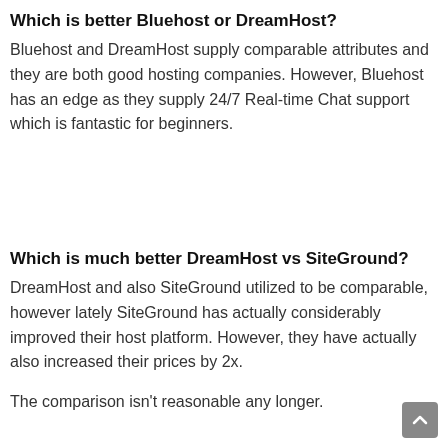Which is better Bluehost or DreamHost?
Bluehost and DreamHost supply comparable attributes and they are both good hosting companies. However, Bluehost has an edge as they supply 24/7 Real-time Chat support which is fantastic for beginners.
Which is much better DreamHost vs SiteGround?
DreamHost and also SiteGround utilized to be comparable, however lately SiteGround has actually considerably improved their host platform. However, they have actually also increased their prices by 2x.
The comparison isn't reasonable any longer.